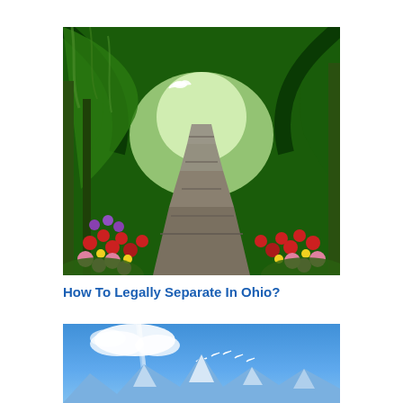[Figure (illustration): A lush green forest path lined with colorful flowers (red, pink, purple, yellow sunflowers) leading into the distance under a canopy of ancient moss-draped trees. A white bird is visible in the upper left area.]
How To Legally Separate In Ohio?
[Figure (illustration): A blue sky scene with white clouds, snow-capped mountain peaks at the bottom, and a line of white birds flying in a V-formation across the blue sky.]